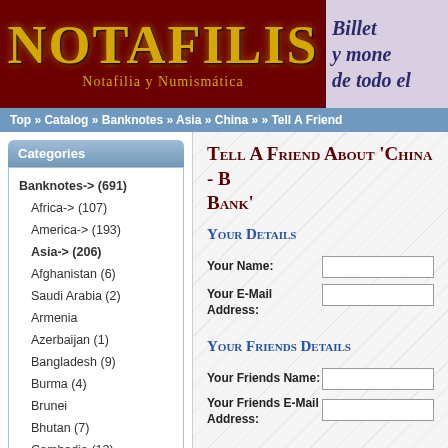NOTAFILIS — Notafilia y Numismática
Billet y mone de todo el
Top » Catalog » Banknotes » Asia » China » » Tell A Friend
Categories
Banknotes-> (691)
Africa-> (107)
America-> (193)
Asia-> (206)
Afghanistan (6)
Saudi Arabia (2)
Armenia
Azerbaijan (1)
Bangladesh (9)
Burma (4)
Brunei
Bhutan (7)
Cambodia (13)
China (8)
North Korea (16)
South Korea (1)
Philippines (2)
Hong Kong
India (13)
Tell A Friend About 'China - B... Bank'
Your Details
Your Name:
Your E-Mail Address:
Your Friends Details
Your Friends Name:
Your Friends E-Mail Address:
Your Message